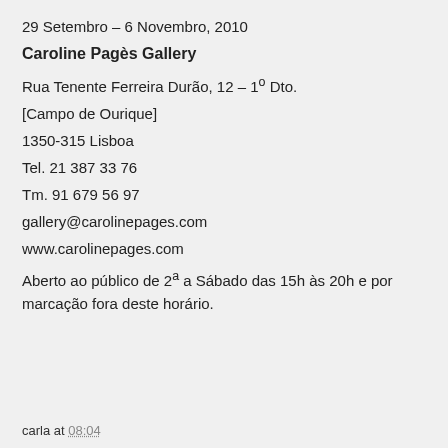29 Setembro – 6 Novembro, 2010
Caroline Pagès Gallery
Rua Tenente Ferreira Durão, 12 – 1º Dto.
[Campo de Ourique]
1350-315 Lisboa
Tel. 21 387 33 76
Tm. 91 679 56 97
gallery@carolinepages.com
www.carolinepages.com
Aberto ao público de 2ª a Sábado das 15h às 20h e por marcação fora deste horário.
carla at 08:04